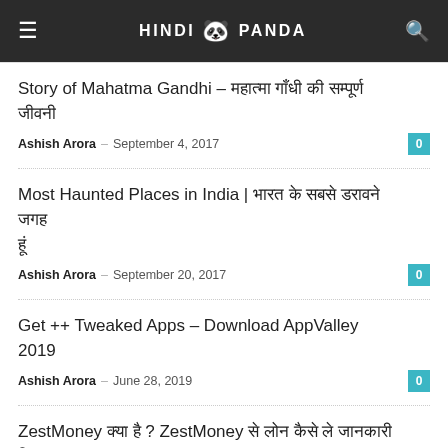HINDI PANDA
Story of Mahatma Gandhi – महात्मा गाँधी की सम्पूर्ण जीवनी
Ashish Arora – September 4, 2017
Most Haunted Places in India | भारत के सबसे डरावने जगह
Ashish Arora – September 20, 2017
Get ++ Tweaked Apps – Download AppValley 2019
Ashish Arora – June 28, 2019
ZestMoney क्या है ? ZestMoney से लोन कैसे ले जानकारी हिंदी में ?
Ashish Arora – November 9, 2018